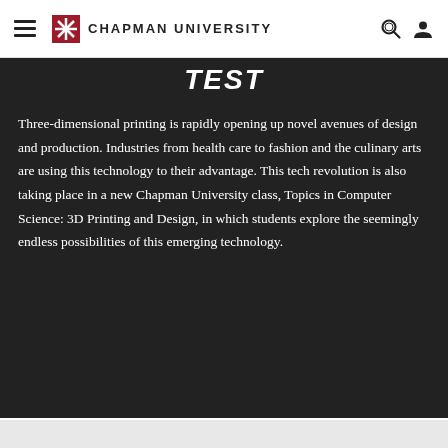Chapman University
TEST
Three-dimensional printing is rapidly opening up novel avenues of design and production. Industries from health care to fashion and the culinary arts are using this technology to their advantage. This tech revolution is also taking place in a new Chapman University class, Topics in Computer Science: 3D Printing and Design, in which students explore the seemingly endless possibilities of this emerging technology.